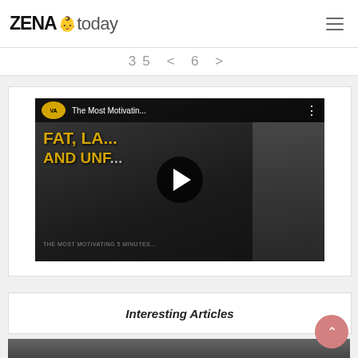ZENA today
35 < 6 >
[Figure (screenshot): YouTube video thumbnail for 'The Most Motivatin...' with VA logo, play button overlay, yellow text 'FAT, LA... AND UNF...' and a person in background]
Interesting Articles
[Figure (photo): Partial photo of a woman's face at bottom of page]